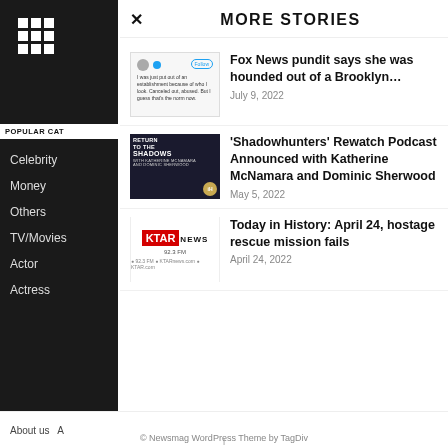MORE STORIES
Celebrity
Money
Others
TV/Movies
Actor
Actress
Fox News pundit says she was hounded out of a Brooklyn…
July 9, 2022
'Shadowhunters' Rewatch Podcast Announced with Katherine McNamara and Dominic Sherwood
May 5, 2022
Today in History: April 24, hostage rescue mission fails
April 24, 2022
About us   A…
© Newsmag WordPress Theme by TagDiv